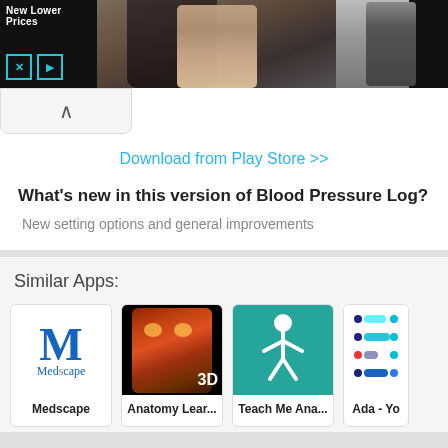[Figure (screenshot): Advertisement banner with dark background, showing 'New Lower Prices' text on left, a couple photo in center, a person in suit on right, and a black rectangle on far right. X and play button controls visible.]
[Figure (screenshot): Collapse/minimize chevron button bar below the ad.]
Download from Play Store >>
What's new in this version of Blood Pressure Log?
New setting options and general improvements
Similar Apps:
[Figure (screenshot): App icon for Medscape showing a large blue M with Medscape text below]
Medscape
[Figure (screenshot): App icon for Anatomy Learn showing a 3D anatomical face model with '3D' text overlay]
Anatomy Lear...
[Figure (screenshot): App icon for Teach Me Anatomy showing a white stick figure on teal background]
Teach Me Ana...
[Figure (screenshot): Partially visible app icon for Ada showing colorful dots/dashes pattern]
Ada - Yo